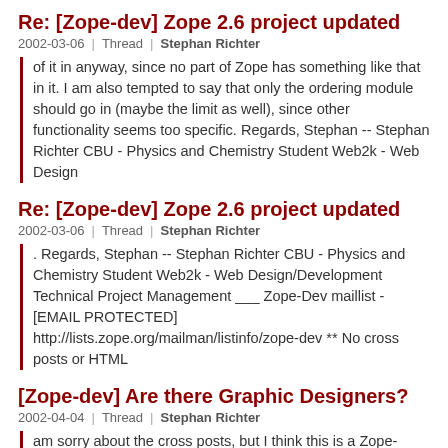Re: [Zope-dev] Zope 2.6 project updated
2002-03-06 | Thread | Stephan Richter
of it in anyway, since no part of Zope has something like that in it. I am also tempted to say that only the ordering module should go in (maybe the limit as well), since other functionality seems too specific. Regards, Stephan -- Stephan Richter CBU - Physics and Chemistry Student Web2k - Web Design
Re: [Zope-dev] Zope 2.6 project updated
2002-03-06 | Thread | Stephan Richter
. Regards, Stephan -- Stephan Richter CBU - Physics and Chemistry Student Web2k - Web Design/Development Technical Project Management ___ Zope-Dev maillist - [EMAIL PROTECTED] http://lists.zope.org/mailman/listinfo/zope-dev ** No cross posts or HTML
[Zope-dev] Are there Graphic Designers?
2002-04-04 | Thread | Stephan Richter
am sorry about the cross posts, but I think this is a Zope-Dev/Zope3 Dev message with an audience mostly found on